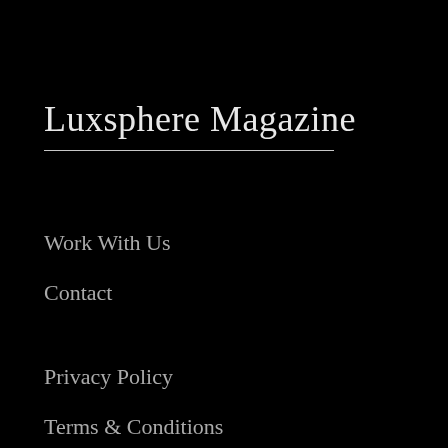Luxsphere Magazine
Work With Us
Contact
Privacy Policy
Terms & Conditions